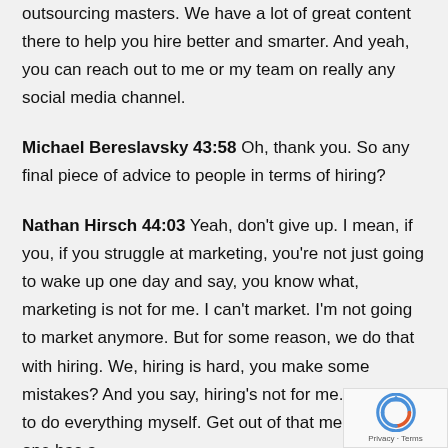outsourcing masters. We have a lot of great content there to help you hire better and smarter. And yeah, you can reach out to me or my team on really any social media channel.
Michael Bereslavsky 43:58 Oh, thank you. So any final piece of advice to people in terms of hiring?
Nathan Hirsch 44:03 Yeah, don't give up. I mean, if you, if you struggle at marketing, you're not just going to wake up one day and say, you know what, marketing is not for me. I can't market. I'm not going to market anymore. But for some reason, we do that with hiring. We, hiring is hard, you make some mistakes? And you say, hiring's not for me. I'm going to do everything myself. Get out of that mentality. No one has a